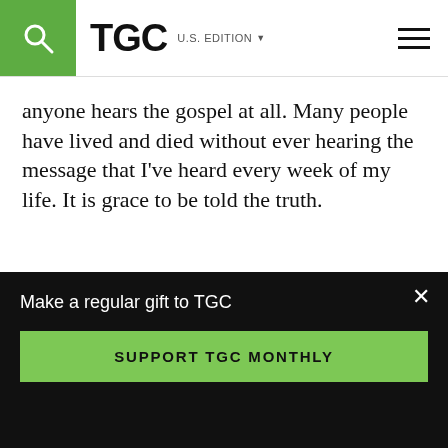TGC U.S. EDITION
anyone hears the gospel at all. Many people have lived and died without ever hearing the message that I've heard every week of my life. It is grace to be told the truth.
“Many people have lived and died without ever hearing the message that I have heard every week of my life. It is grace to be told
Make a regular gift to TGC
SUPPORT TGC MONTHLY